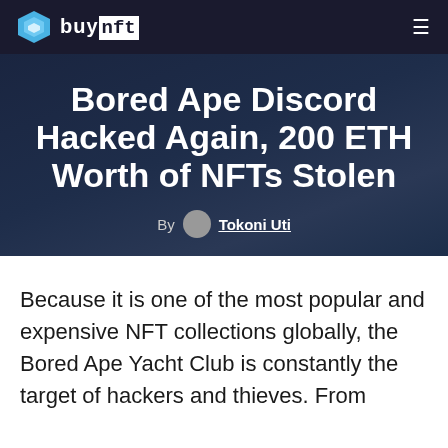buynft
Bored Ape Discord Hacked Again, 200 ETH Worth of NFTs Stolen
By Tokoni Uti
Because it is one of the most popular and expensive NFT collections globally, the Bored Ape Yacht Club is constantly the target of hackers and thieves. From